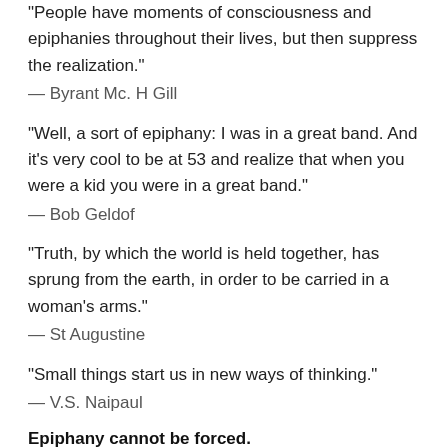“People have moments of consciousness and epiphanies throughout their lives, but then suppress the realization.”
— Byrant Mc. H Gill
“Well, a sort of epiphany: I was in a great band. And it’s very cool to be at 53 and realize that when you were a kid you were in a great band.”
— Bob Geldof
“Truth, by which the world is held together, has sprung from the earth, in order to be carried in a woman’s arms.”
— St Augustine
“Small things start us in new ways of thinking.”
— V.S. Naipaul
Epiphany cannot be forced.
During your journey to self-awakening, you may experience an epiphany. Discovering and realizing new things about yourself or your daily practices may come as an epiphany. Epiphanies are however, not regular occurrences but happen very rarely. You may need to go through a number of experiences and much learning